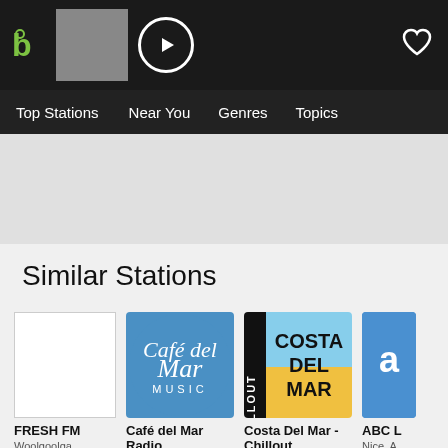[Figure (screenshot): App top bar with logo, now-playing thumbnail, play button, and heart icon]
Top Stations | Near You | Genres | Topics
[Figure (other): Advertisement area, light grey background]
Similar Stations
[Figure (other): FRESH FM station logo placeholder (blank white)]
FRESH FM
Woolgoolga, Ambient, Jazz, Blues, Classical
[Figure (logo): Café del Mar Radio circular blue logo with script text]
Café del Mar Radio
Ibiza, Chillout, Ambient
[Figure (logo): Costa Del Mar Chillout logo with black vertical CHILLOUT text and sky/yellow background]
Costa Del Mar - Chillout
Ibiza, Ambient, Chillout
[Figure (logo): ABC L... station logo partially visible, blue background]
ABC L
Nice, A, Chillou, Listen